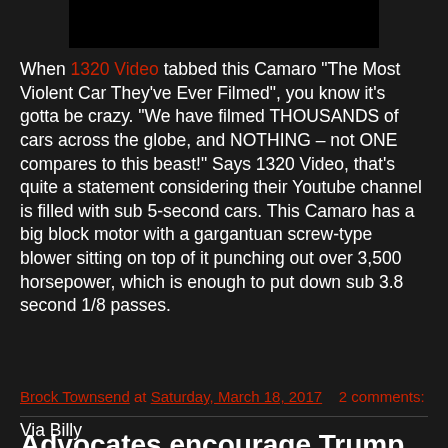[Figure (other): Dark/black video thumbnail placeholder at top center]
When 1320 Video tabbed this Camaro “The Most Violent Car They've Ever Filmed”, you know it’s gotta be crazy. “We have filmed THOUSANDS of cars across the globe, and NOTHING – not ONE compares to this beast!” Says 1320 Video, that’s quite a statement considering their Youtube channel is filled with sub 5-second cars. This Camaro has a big block motor with a gargantuan screw-type blower sitting on top of it punching out over 3,500 horsepower, which is enough to put down sub 3.8 second 1/8 passes.
Brock Townsend at Saturday, March 18, 2017   2 comments:
Advocates encourage Trump to take action on anniversary of Christian genocide designation
Via Billy